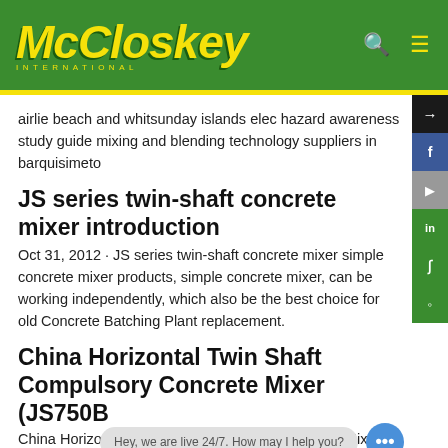McCloskey INTERNATIONAL
airlie beach and whitsunday islands elec hazard awareness study guide mixing and blending technology suppliers in barquisimeto
JS series twin-shaft concrete mixer introduction
Oct 31, 2012 · JS series twin-shaft concrete mixer simple concrete mixer products, simple concrete mixer, can be working independently, which also be the best choice for old Concrete Batching Plant replacement.
China Horizontal Twin Shaft Compulsory Concrete Mixer (JS750B
China Horizontal Twin Shaft Compulsory Concrete Mix